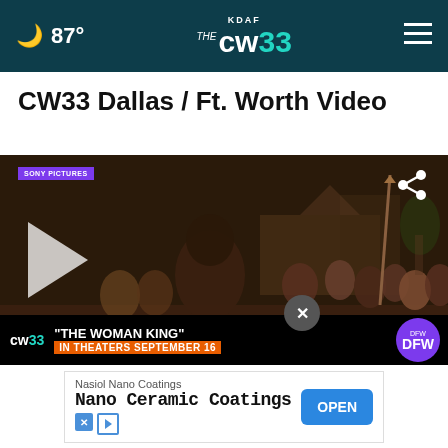87° KDAF CW33
CW33 Dallas / Ft. Worth Video
[Figure (screenshot): Video thumbnail showing a scene from 'The Woman King' movie with a woman warrior in the foreground and a crowd behind her. Includes a Sony Pictures badge, share icon, play button, CW33 lower banner with text '"THE WOMAN KING" IN THEATERS SEPTEMBER 16', DFW badge, and a close X button.]
[Figure (screenshot): Advertisement for Nasiol Nano Coatings showing 'Nano Ceramic Coatings' text with an OPEN button]